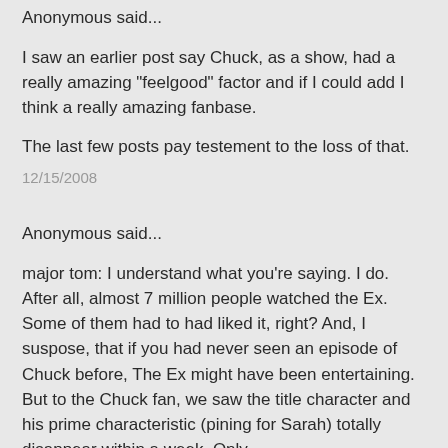Anonymous said...
I saw an earlier post say Chuck, as a show, had a really amazing "feelgood" factor and if I could add I think a really amazing fanbase.
The last few posts pay testement to the loss of that.
12/15/2008
Anonymous said...
major tom: I understand what you're saying. I do. After all, almost 7 million people watched the Ex. Some of them had to had liked it, right? And, I suspose, that if you had never seen an episode of Chuck before, The Ex might have been entertaining. But to the Chuck fan, we saw the title character and his prime characteristic (pining for Sarah) totally disappear within a week. Only